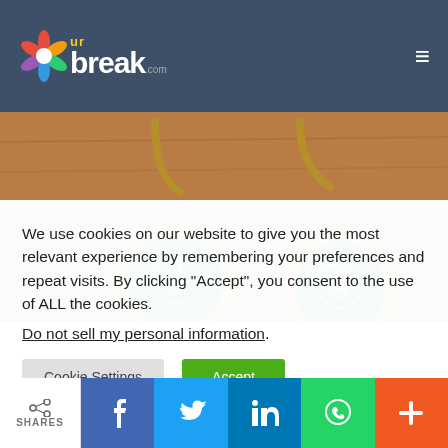urbreak.com
[Figure (photo): Two ornate round earrings with teal and gold mandala design on a wooden background]
We use cookies on our website to give you the most relevant experience by remembering your preferences and repeat visits. By clicking “Accept”, you consent to the use of ALL the cookies.
Do not sell my personal information.
Cookie Settings  Accept
SHARES  f  t  in  WhatsApp  +